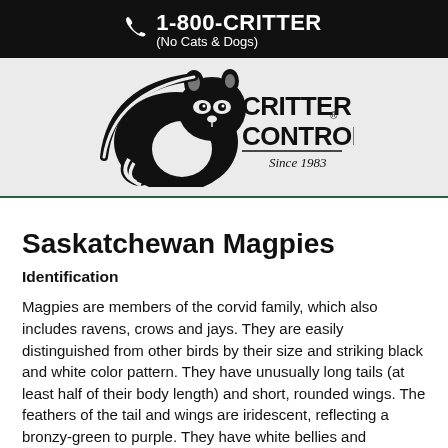1-800-CRITTER (No Cats & Dogs)
[Figure (logo): Critter Control logo with raccoon graphic, text reads CRITTER CONTROL. Since 1983]
Saskatchewan Magpies
Identification
Magpies are members of the corvid family, which also includes ravens, crows and jays. They are easily distinguished from other birds by their size and striking black and white color pattern. They have unusually long tails (at least half of their body length) and short, rounded wings. The feathers of the tail and wings are iridescent, reflecting a bronzy-green to purple. They have white bellies and shoulder patches and their wings flash white in flight, like other corvids, they are very vocal